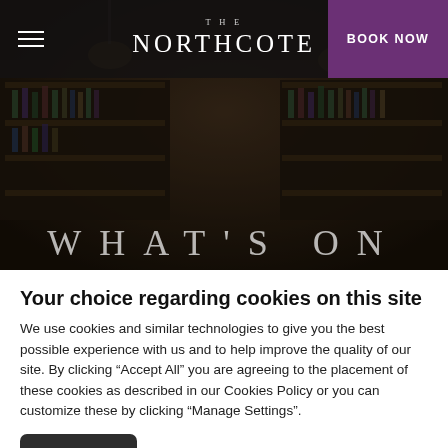THE NORTHCOTE | BOOK NOW
[Figure (photo): Dark interior photo of a bar/restaurant with bottles on shelves, dimly lit with warm tones. 'WHAT'S ON' text overlaid in large white letters.]
Your choice regarding cookies on this site
We use cookies and similar technologies to give you the best possible experience with us and to help improve the quality of our site. By clicking “Accept All” you are agreeing to the placement of these cookies as described in our Cookies Policy or you can customize these by clicking “Manage Settings”.
Accept All | Manage Settings